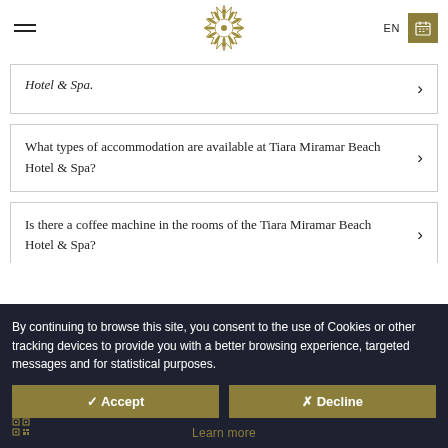Tiara Miramar Beach Hotel & Spa - EN
Hotel & Spa.
What types of accommodation are available at Tiara Miramar Beach Hotel & Spa?
Is there a coffee machine in the rooms of the Tiara Miramar Beach Hotel & Spa?
Is there a coffee machine in the rooms of the Tiara Miramar Beach Hotel & Spa?
By continuing to browse this site, you consent to the use of Cookies or other tracking devices to provide you with a better browsing experience, targeted messages and for statistical purposes.
✓ Accept
✗ Decline
Learn more